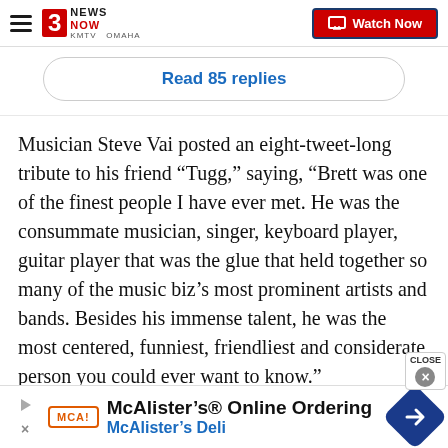3 News Now KMTV Omaha — Watch Now
Read 85 replies
Musician Steve Vai posted an eight-tweet-long tribute to his friend “Tugg,” saying, “Brett was one of the finest people I have ever met. He was the consummate musician, singer, keyboard player, guitar player that was the glue that held together so many of the music biz’s most prominent artists and bands. Besides his immense talent, he was the most centered, funniest, friendliest and considerate person you could ever want to know.”
[Figure (screenshot): McAlister's Online Ordering advertisement banner with McAlister's Deli text and navigation icon]